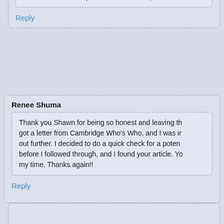at home. I decided not to return the call after reading on the web. Thanks to everyone for the heads up.
Reply
Renee Shuma
Thank you Shawn for being so honest and leaving this message. I got a letter from Cambridge Who's Who, and I was intrigued to find out further. I decided to do a quick check for a potential scam before I followed through, and I found your article. You just saved my time. Thanks again!!
Reply